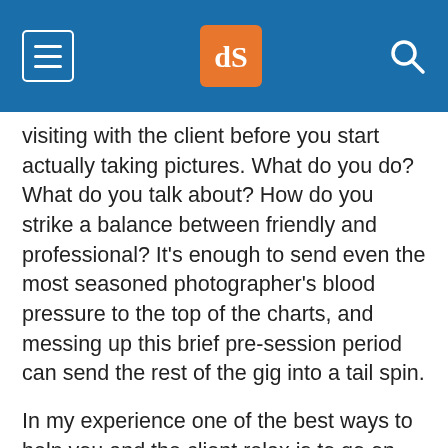dPS logo and navigation bar
visiting with the client before you start actually taking pictures. What do you do? What do you talk about? How do you strike a balance between friendly and professional? It’s enough to send even the most seasoned photographer’s blood pressure to the top of the charts, and messing up this brief pre-session period can send the rest of the gig into a tail spin.
In my experience one of the best ways to help you and the client relax is to go on the offence